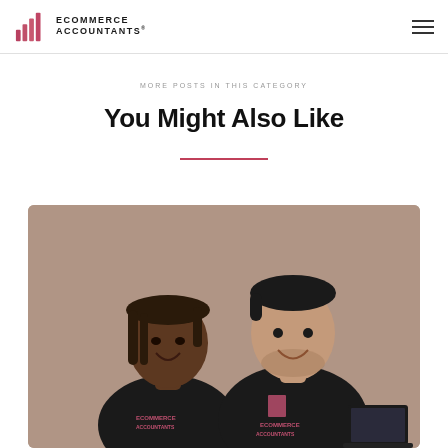ECOMMERCE ACCOUNTANTS
MORE POSTS IN THIS CATEGORY
You Might Also Like
[Figure (photo): Two people wearing black Ecommerce Accountants branded t-shirts sitting together, smiling and talking, with a laptop visible on the right side, against a warm brownish background.]